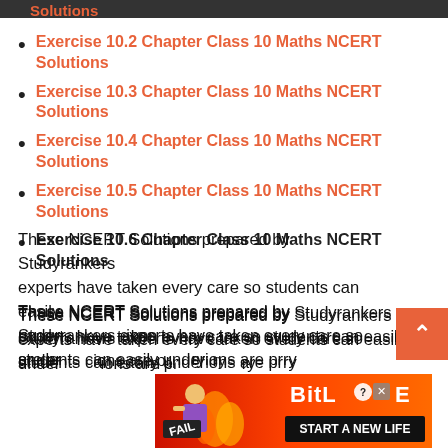Solutions
Exercise 10.2 Chapter Class 10 Maths NCERT Solutions
Exercise 10.3 Chapter Class 10 Maths NCERT Solutions
Exercise 10.4 Chapter Class 10 Maths NCERT Solutions
Exercise 10.5 Chapter Class 10 Maths NCERT Solutions
Exercise 10.6 Chapter Class 10 Maths NCERT Solutions
These NCERT Solutions prepared by Studyrankers experts have taken every care so students can easily understand solutions are primarily
[Figure (screenshot): BitLife advertisement banner with 'START A NEW LIFE' text and FAIL character]